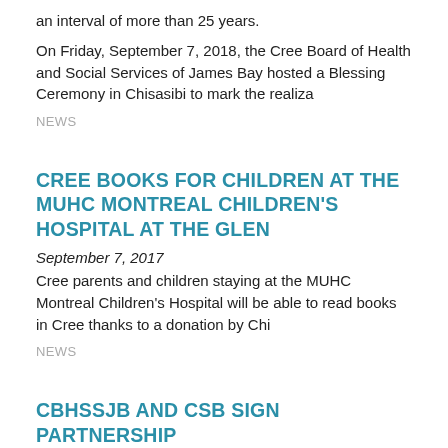an interval of more than 25 years.
On Friday, September 7, 2018, the Cree Board of Health and Social Services of James Bay hosted a Blessing Ceremony in Chisasibi to mark the realiza
NEWS
CREE BOOKS FOR CHILDREN AT THE MUHC MONTREAL CHILDREN'S HOSPITAL AT THE GLEN
September 7, 2017
Cree parents and children staying at the MUHC Montreal Children's Hospital will be able to read books in Cree thanks to a donation by Chi
NEWS
CBHSSJB AND CSB SIGN PARTNERSHIP